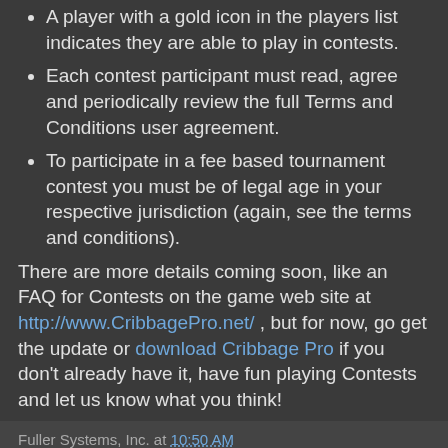A player with a gold icon in the players list indicates they are able to play in contests.
Each contest participant must read, agree and periodically review the full Terms and Conditions user agreement.
To participate in a fee based tournament contest you must be of legal age in your respective jurisdiction (again, see the terms and conditions).
There are more details coming soon, like an FAQ for Contests on the game web site at http://www.CribbagePro.net/ , but for now, go get the update or download Cribbage Pro if you don't already have it, have fun playing Contests and let us know what you think!
Fuller Systems, Inc. at 10:50 AM
Share
No comments: